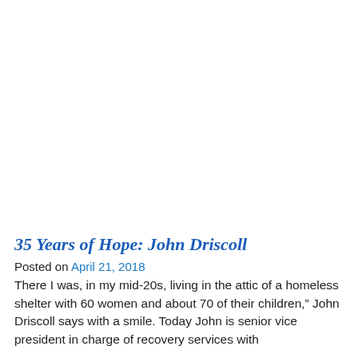35 Years of Hope: John Driscoll
Posted on April 21, 2018
There I was, in my mid-20s, living in the attic of a homeless shelter with 60 women and about 70 of their children," John Driscoll says with a smile. Today John is senior vice president in charge of recovery services with